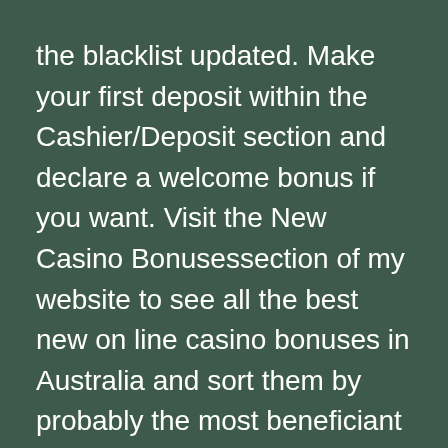the blacklist updated. Make your first deposit within the Cashier/Deposit section and declare a welcome bonus if you want. Visit the New Casino Bonusessection of my website to see all the best new on line casino bonuses in Australia and sort them by probably the most beneficiant offers. Progressive pokies are some of the most pleasant options Aussies get pleasure from.
When you may have your website locked and loaded, it's time to create an online casino account. Since most evaluate websites are affiliated with the casinos, they might be